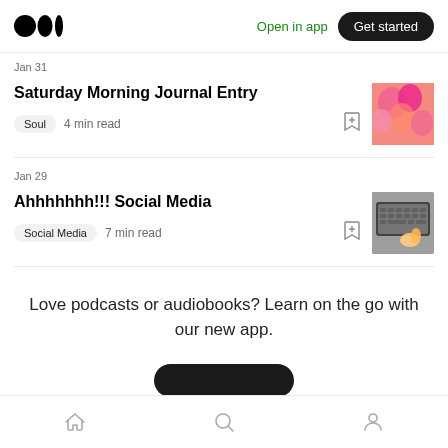Open in app  Get started
Jan 31
Saturday Morning Journal Entry
Soul  4 min read
Jan 29
Ahhhhhhh!!! Social Media
Social Media  7 min read
Love podcasts or audiobooks? Learn on the go with our new app.